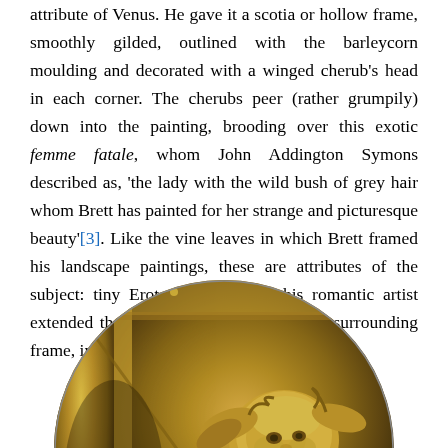attribute of Venus. He gave it a scotia or hollow frame, smoothly gilded, outlined with the barleycorn moulding and decorated with a winged cherub's head in each corner. The cherubs peer (rather grumpily) down into the painting, brooding over this exotic femme fatale, whom John Addington Symons described as, 'the lady with the wild bush of grey hair whom Brett has painted for her strange and picturesque beauty'[3]. Like the vine leaves in which Brett framed his landscape paintings, these are attributes of the subject: tiny Erotes, with which this romantic artist extended the theme of his work onto the surrounding frame, in the manner of a true Pre-Raphaelite.
[Figure (photo): A circular cropped photograph of a gilded frame corner showing a winged cherub's head sculpted in gold relief, with barleycorn moulding visible]